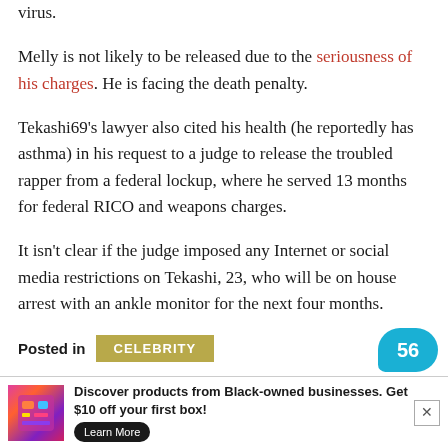virus.
Melly is not likely to be released due to the seriousness of his charges. He is facing the death penalty.
Tekashi69's lawyer also cited his health (he reportedly has asthma) in his request to a judge to release the troubled rapper from a federal lockup, where he served 13 months for federal RICO and weapons charges.
It isn't clear if the judge imposed any Internet or social media restrictions on Tekashi, 23, who will be on house arrest with an ankle monitor for the next four months.
Posted in CELEBRITY
[Figure (infographic): Advertisement banner: Discover products from Black-owned businesses. Get $10 off your first box! with Learn More button and close X button]